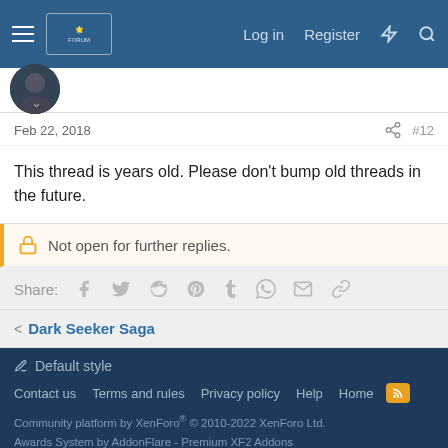Log in  Register
Feb 22, 2018  #12
This thread is years old. Please don't bump old threads in the future.
Not open for further replies.
Share:
< Dark Seeker Saga
Default style
Contact us  Terms and rules  Privacy policy  Help  Home
Community platform by XenForo® © 2010-2022 XenForo Ltd.
Awards System by AddonFlare - Premium XF2 Addons
Xenforo Theme by © XenTR